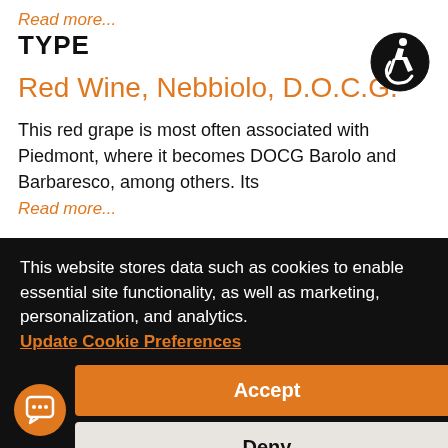Read more...
[Figure (illustration): Accessibility icon: circular black icon with white wheelchair user figure]
TYPE
Red Wine, Nebbiolo, D.O.C.G.
This red grape is most often associated with Piedmont, where it becomes DOCG Barolo and Barbaresco, among others. Its
Read more...
VINTAGE
This website stores data such as cookies to enable essential site functionality, as well as marketing, personalization, and analytics. Update Cookie Preferences
Accept
Deny
[Figure (illustration): Orange circular chat bubble icon]